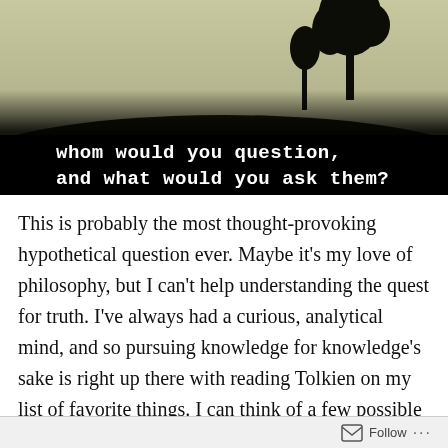[Figure (photo): Dark dramatic photo of a lone tree silhouette on a hill against a pale yellowish sky, with black overlay at bottom containing white monospaced text: 'whom would you question, and what would you ask them?']
This is probably the most thought-provoking hypothetical question ever. Maybe it's my love of philosophy, but I can't help understanding the quest for truth. I've always had a curious, analytical mind, and so pursuing knowledge for knowledge's sake is right up there with reading Tolkien on my list of favorite things. I can think of a few possible people that I'd like to pose questions to, especially with a guaranteed honest answer. However, I don't think that I
Follow ...